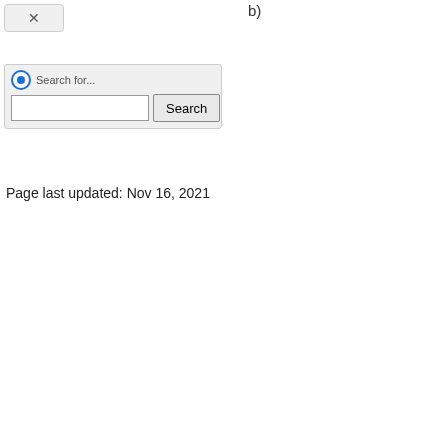[Figure (screenshot): A close button (X) in a rounded rectangle UI element at top left]
b)
[Figure (screenshot): A search widget with a radio button labeled 'Search for...', a text input field, and a Search button]
Page last updated: Nov 16, 2021